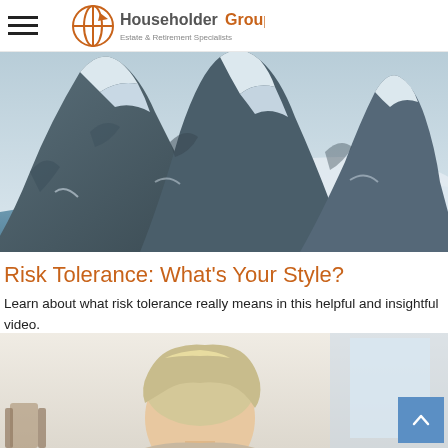Householder Group — Estate & Retirement Specialists
[Figure (photo): Aerial view of snow-capped mountain peaks with blue glacial water below]
Risk Tolerance: What's Your Style?
Learn about what risk tolerance really means in this helpful and insightful video.
[Figure (photo): Elderly person with light hair viewed from behind, in a bright room]